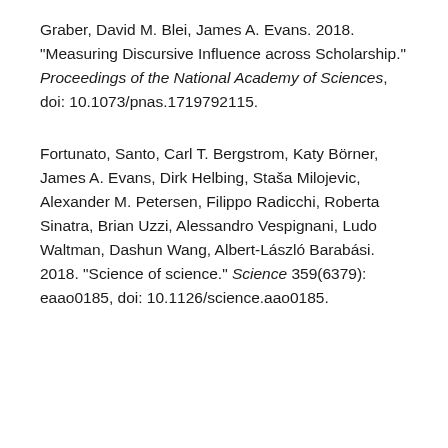Graber, David M. Blei, James A. Evans. 2018. "Measuring Discursive Influence across Scholarship." Proceedings of the National Academy of Sciences, doi: 10.1073/pnas.1719792115.
Fortunato, Santo, Carl T. Bergstrom, Katy Börner, James A. Evans, Dirk Helbing, Staša Milojevic, Alexander M. Petersen, Filippo Radicchi, Roberta Sinatra, Brian Uzzi, Alessandro Vespignani, Ludo Waltman, Dashun Wang, Albert-László Barabási. 2018. "Science of science." Science 359(6379): eaao0185, doi: 10.1126/science.aao0185.